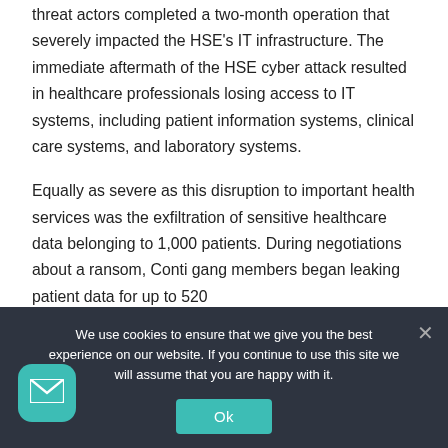threat actors completed a two-month operation that severely impacted the HSE's IT infrastructure. The immediate aftermath of the HSE cyber attack resulted in healthcare professionals losing access to IT systems, including patient information systems, clinical care systems, and laboratory systems.
Equally as severe as this disruption to important health services was the exfiltration of sensitive healthcare data belonging to 1,000 patients. During negotiations about a ransom, Conti gang members began leaking patient data for up to 520
We use cookies to ensure that we give you the best experience on our website. If you continue to use this site we will assume that you are happy with it.